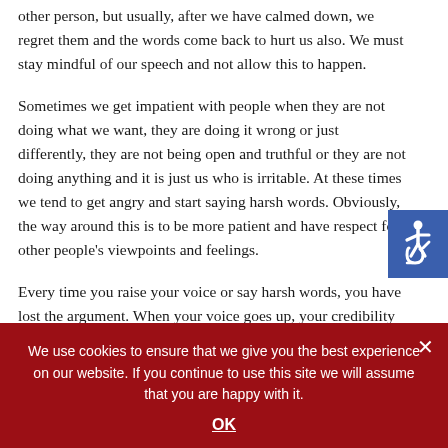other person, but usually, after we have calmed down, we regret them and the words come back to hurt us also. We must stay mindful of our speech and not allow this to happen.
Sometimes we get impatient with people when they are not doing what we want, they are doing it wrong or just differently, they are not being open and truthful or they are not doing anything and it is just us who is irritable. At these times we tend to get angry and start saying harsh words. Obviously, the way around this is to be more patient and have respect for other people's viewpoints and feelings.
Every time you raise your voice or say harsh words, you have lost the argument. When your voice goes up, your credibility comes down.
[Figure (other): Accessibility icon — white wheelchair symbol on blue background]
We use cookies to ensure that we give you the best experience on our website. If you continue to use this site we will assume that you are happy with it.
OK